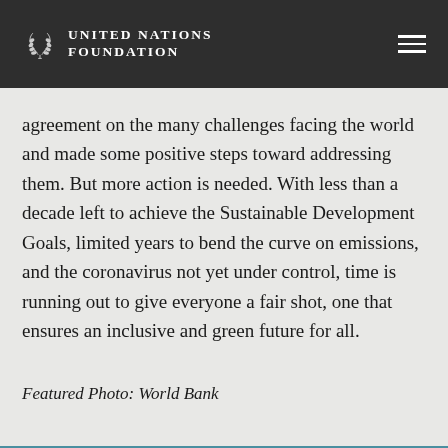UNITED NATIONS FOUNDATION
agreement on the many challenges facing the world and made some positive steps toward addressing them. But more action is needed. With less than a decade left to achieve the Sustainable Development Goals, limited years to bend the curve on emissions, and the coronavirus not yet under control, time is running out to give everyone a fair shot, one that ensures an inclusive and green future for all.
Featured Photo: World Bank